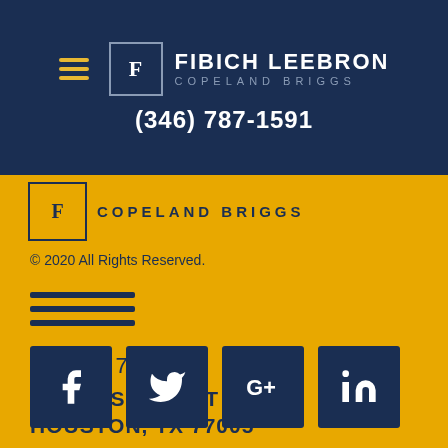Fibich Leebron Copeland Briggs | (346) 787-1591
[Figure (logo): Fibich Leebron Copeland Briggs law firm logo with F monogram in bordered box, partially visible on yellow background]
© 2020 All Rights Reserved.
[Figure (illustration): Hamburger/menu icon with three navy horizontal lines on yellow background]
(346) 787-1591
1150 BISSONNET ST
HOUSTON, TX 77005
[Figure (infographic): Social media icons: Facebook, Twitter, Google+, LinkedIn — white icons on navy blue square backgrounds]